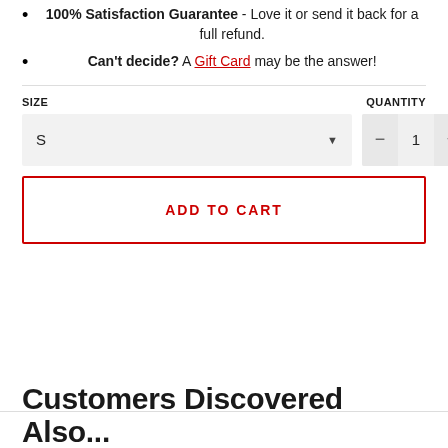100% Satisfaction Guarantee - Love it or send it back for a full refund.
Can't decide? A Gift Card may be the answer!
SIZE   QUANTITY
S  [dropdown]  —  1  +
ADD TO CART
Customers Discovered Also...